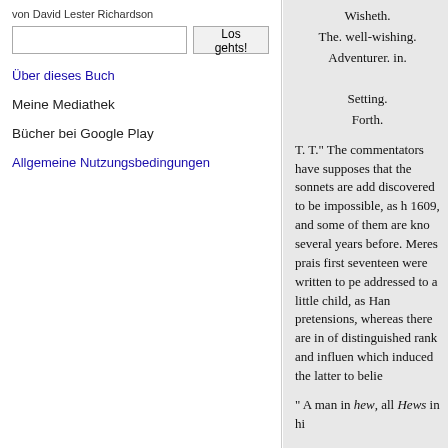von David Lester Richardson
Los gehts! [search button]
Über dieses Buch
Meine Mediathek
Bücher bei Google Play
Allgemeine Nutzungsbedingungen
Wisheth.
The. well-wishing.
Adventurer. in.

Setting.
Forth.

T. T." The commentators have supposes that the sonnets are add discovered to be impossible, as h 1609, and some of them are kno several years before. Meres prais first seventeen were written to pe addressed to a little child, as Han pretensions, whereas there are in of distinguished rank and influen which induced the latter to belie

" A man in hew, all Hews in hi

The name of Hughes was former are addressed, and the remaining and 143rd sonnets seems in acco